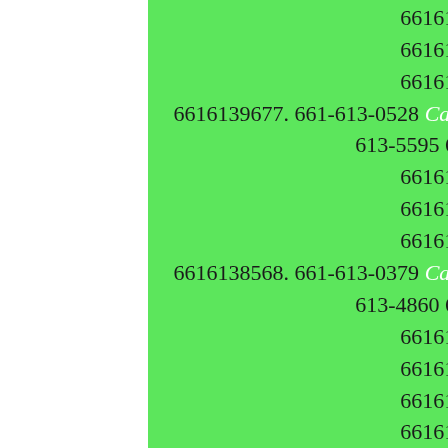9629 6616139629. 661-613-7085 6616137085. 661-613-7523 6616137523. 661-613-6618 6616136618. 661-613-9677 6616139677. 661-613-0528 Caller Name Identify My Caller 6616130528. 661-613-5595 6616135595. 661-613-6840 6616136840. 661-613-9162 6616139162. 661-613-8148 6616138148. 661-613-8568 6616138568. 661-613-0379 Caller Name Identify My Caller 6616130379. 661-613-4860 6616134860. 661-613-8823 6616138823. 661-613-7275 6616137275. 661-613-9087 6616139087. 661-613-3827 6616133827. 661-613-5968 6616135968. 661-613-3605 6616133605. 661-613-4489 6616134489. 661-613-7093 6616137093. 661-613-7066 6616137066. 661-613-8958 6616138958. 661-613-6984 6616136984. 661-613-8860 6616138860. 661-613-5808